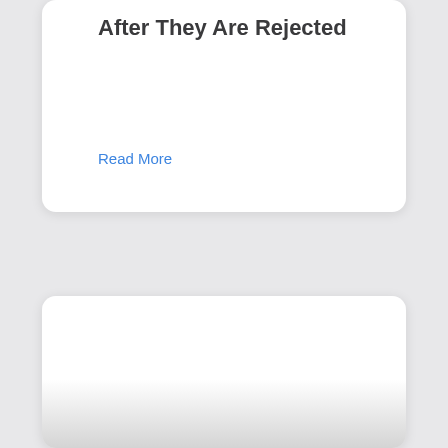After They Are Rejected
Read More
[Figure (other): White card with gradient fade at bottom, partially visible second card below]